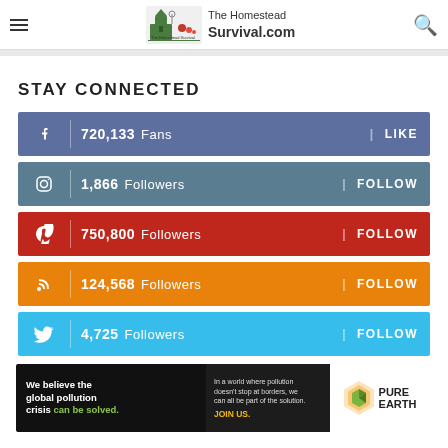The Homestead Survival.com
STAY CONNECTED
720,133  Fans  LIKE
1,866  Followers  FOLLOW
750,800  Followers  FOLLOW
124,568  Followers  FOLLOW
4,725  Followers  FOLLOW
[Figure (infographic): Pure Earth advertisement banner: 'We believe the global pollution crisis can be solved.' with JOIN US call to action and Pure Earth logo]